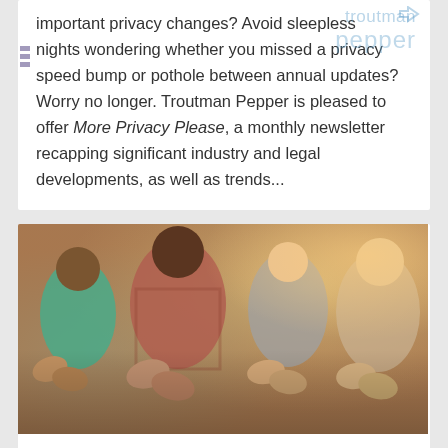important privacy changes? Avoid sleepless nights wondering whether you missed a privacy speed bump or pothole between annual updates? Worry no longer. Troutman Pepper is pleased to offer More Privacy Please, a monthly newsletter recapping significant industry and legal developments, as well as trends...
[Figure (photo): Group of people clapping/applauding at an event, photographed from the waist down showing hands and partial torsos]
Complimentary Webinar: